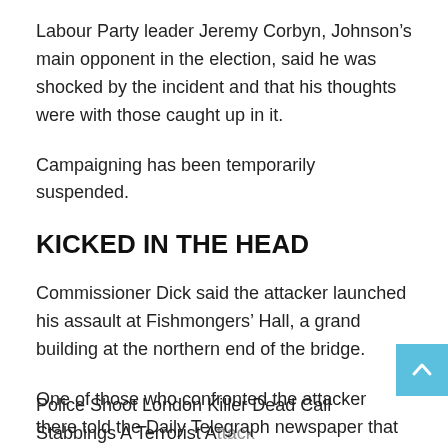Labour Party leader Jeremy Corbyn, Johnson’s main opponent in the election, said he was shocked by the incident and that his thoughts were with those caught up in it.
Campaigning has been temporarily suspended.
KICKED IN THE HEAD
Commissioner Dick said the attacker launched his assault at Fishmongers’ Hall, a grand building at the northern end of the bridge.
One of those who confronted the attacker there told the Daily Telegraph newspaper that he had kicked him in the head to make him drop the knife.
Police Shoot London Killer Dead Call Stabbings A Terrorist Attack